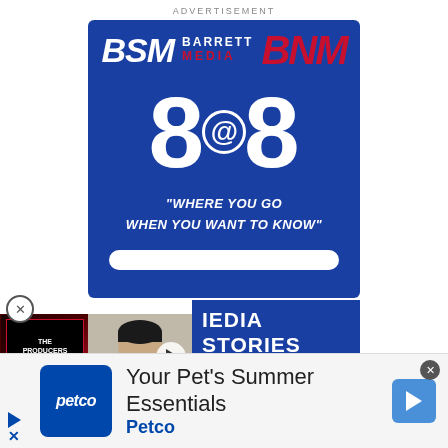ADVERTISEMENT
[Figure (logo): BSM Barrett Media BNM 8@8 advertisement banner with blue background, showing logo and tagline 'WHERE YOU GO WHEN YOU WANT TO KNOW']
[Figure (photo): Producers Podcast thumbnail and photo of a man in black jacket, with play button overlay]
MEDIA STORIES
BY 8AM ET
[Figure (logo): Petco advertisement banner: 'Your Pet's Summer Essentials' with Petco logo and navigation arrow]